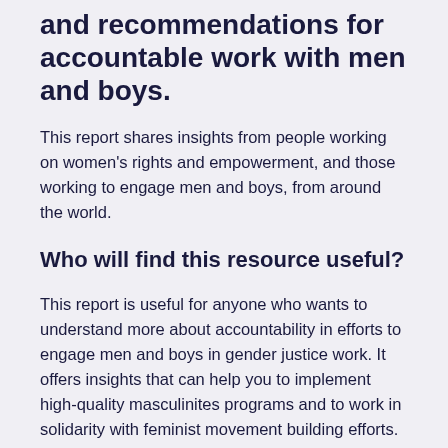and recommendations for accountable work with men and boys.
This report shares insights from people working on women's rights and empowerment, and those working to engage men and boys, from around the world.
Who will find this resource useful?
This report is useful for anyone who wants to understand more about accountability in efforts to engage men and boys in gender justice work. It offers insights that can help you to implement high-quality masculinites programs and to work in solidarity with feminist movement building efforts.
With insights on power, privilege, patriarchy, and intersectionality, the report also addresses...